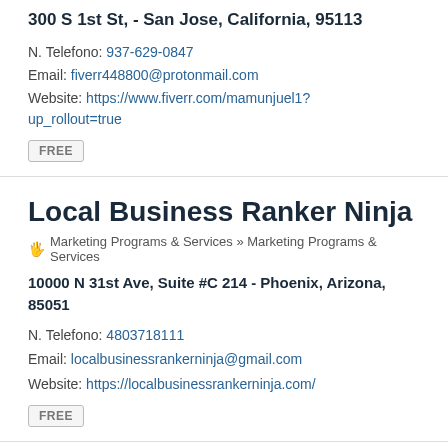300 S 1st St, - San Jose, California, 95113
N. Telefono: 937-629-0847
Email: fiverr448800@protonmail.com
Website: https://www.fiverr.com/mamunjuel1?up_rollout=true
FREE
Local Business Ranker Ninja
Marketing Programs & Services » Marketing Programs & Services
10000 N 31st Ave, Suite #C 214 - Phoenix, Arizona, 85051
N. Telefono: 4803718111
Email: localbusinessrankerninja@gmail.com
Website: https://localbusinessrankerninja.com/
FREE
Local Child Care Marketing